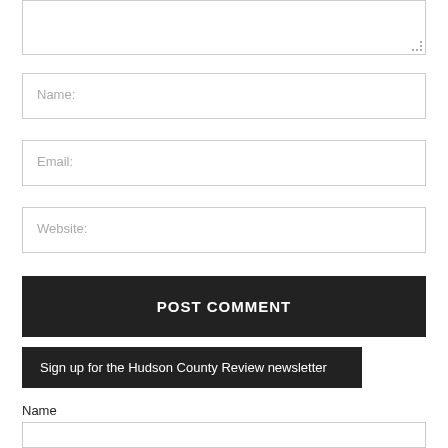[Figure (screenshot): Comment form textarea (top portion, partially visible)]
Name:
Email:
Website:
POST COMMENT
Sign up for the Hudson County Review newsletter
Name